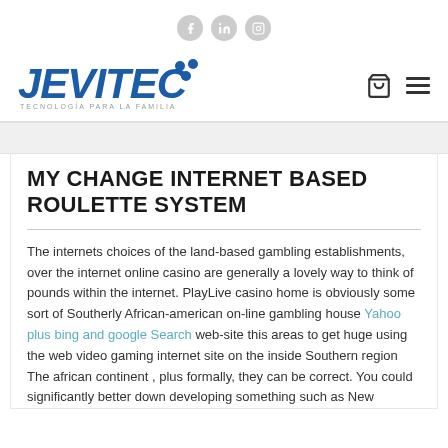Social icons: Facebook, LinkedIn, Instagram
[Figure (logo): JEVITEC logo with blue italic bold text and people icon, tagline: TECNOLOGÍA PARA LA FAMILIA]
MY CHANGE INTERNET BASED ROULETTE SYSTEM
The internets choices of the land-based gambling establishments, over the internet online casino are generally a lovely way to think of pounds within the internet. PlayLive casino home is obviously some sort of Southerly African-american on-line gambling house Yahoo plus bing and google Search web-site this areas to get huge using the web video gaming internet site on the inside Southern region The african continent , plus formally, they can be correct. You could significantly better down developing something such as New